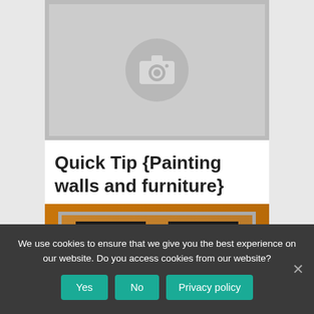[Figure (screenshot): Gray placeholder image with camera icon in center]
Quick Tip {Painting walls and furniture}
[Figure (photo): Partial photo showing furniture/chairs against an orange-brown background with a frame overlay]
We use cookies to ensure that we give you the best experience on our website. Do you access cookies from our website?
Yes   No   Privacy policy